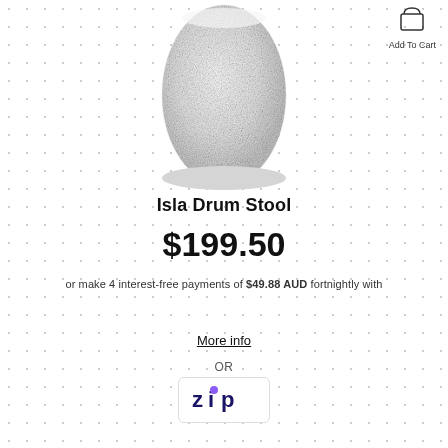[Figure (photo): White boucle fabric drum stool, oval/cylindrical shape, cropped at top, viewed from front]
Isla Drum Stool
$199.50
or make 4 interest-free payments of $49.88 AUD fortnightly with afterpay More info
OR
[Figure (logo): Zip pay logo - zip written in dark blue/purple with a purple dot over the i]